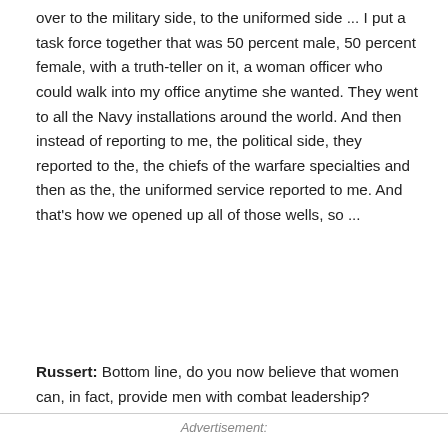over to the military side, to the uniformed side ... I put a task force together that was 50 percent male, 50 percent female, with a truth-teller on it, a woman officer who could walk into my office anytime she wanted. They went to all the Navy installations around the world. And then instead of reporting to me, the political side, they reported to the, the chiefs of the warfare specialties and then as the, the uniformed service reported to me. And that's how we opened up all of those wells, so ...
Russert: Bottom line, do you now believe that women can, in fact, provide men with combat leadership?
Advertisement: